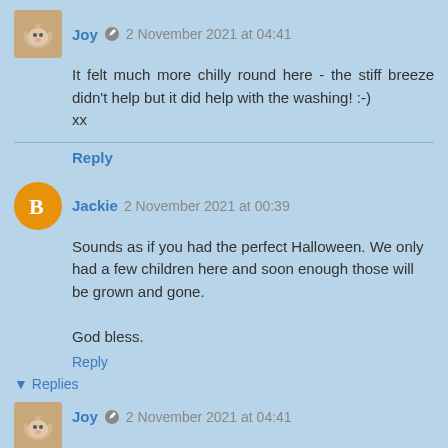Joy 🖊 2 November 2021 at 04:41
It felt much more chilly round here - the stiff breeze didn't help but it did help with the washing! :-)
xx
Reply
Jackie 2 November 2021 at 00:39
Sounds as if you had the perfect Halloween. We only had a few children here and soon enough those will be grown and gone.

God bless.
Reply
▼ Replies
Joy 🖊 2 November 2021 at 04:41